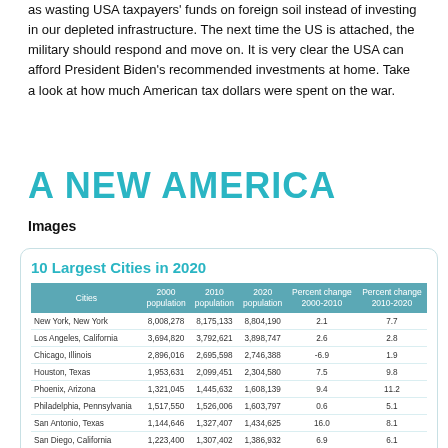as wasting USA taxpayers' funds on foreign soil instead of investing in our depleted infrastructure. The next time the US is attached, the military should respond and move on. It is very clear the USA can afford President Biden's recommended investments at home. Take a look at how much American tax dollars were spent on the war.
A NEW AMERICA
Images
| Cities | 2000 population | 2010 population | 2020 population | Percent change 2000-2010 | Percent change 2010-2020 |
| --- | --- | --- | --- | --- | --- |
| New York, New York | 8,008,278 | 8,175,133 | 8,804,190 | 2.1 | 7.7 |
| Los Angeles, California | 3,694,820 | 3,792,621 | 3,898,747 | 2.6 | 2.8 |
| Chicago, Illinois | 2,896,016 | 2,695,598 | 2,746,388 | -6.9 | 1.9 |
| Houston, Texas | 1,953,631 | 2,099,451 | 2,304,580 | 7.5 | 9.8 |
| Phoenix, Arizona | 1,321,045 | 1,445,632 | 1,608,139 | 9.4 | 11.2 |
| Philadelphia, Pennsylvania | 1,517,550 | 1,526,006 | 1,603,797 | 0.6 | 5.1 |
| San Antonio, Texas | 1,144,646 | 1,327,407 | 1,434,625 | 16.0 | 8.1 |
| San Diego, California | 1,223,400 | 1,307,402 | 1,386,932 | 6.9 | 6.1 |
| Dallas, Texas | 1,188,580 | 1,197,816 | 1,304,379 | 0.8 | 8.9 |